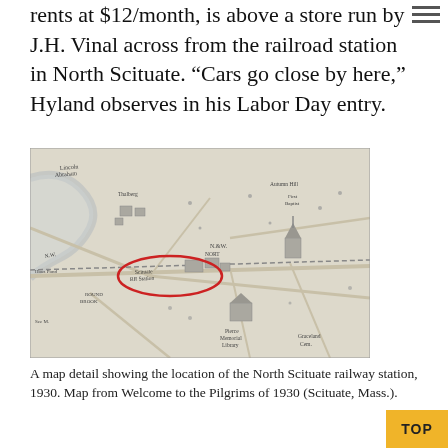rents at $12/month, is above a store run by J.H. Vinal across from the railroad station in North Scituate. “Cars go close by here,” Hyland observes in his Labor Day entry.
[Figure (map): A historical map detail showing the location of the North Scituate railway station, 1930, with a red oval circle highlighting the station location. The map shows roads, buildings, and geographic features around North Scituate, Massachusetts.]
A map detail showing the location of the North Scituate railway station, 1930. Map from Welcome to the Pilgrims of 1930 (Scituate, Mass.).